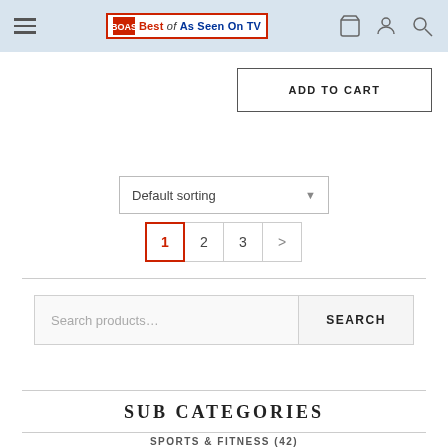Best of As Seen On TV - website header with hamburger menu, logo, cart, account, and search icons
ADD TO CART
Default sorting
1  2  3  >
Search products...
SEARCH
SUB CATEGORIES
SPORTS & FITNESS (42)